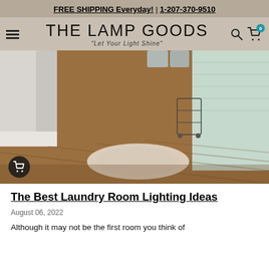FREE SHIPPING Everyday! | 1-207-370-9510
THE LAMP GOODS
"Let Your Light Shine"
[Figure (photo): Interior laundry room with wide-plank hardwood floors, a floral area rug, white shiplap walls, a wire rolling cart, and appliances in the background.]
The Best Laundry Room Lighting Ideas
August 06, 2022
Although it may not be the first room you think of